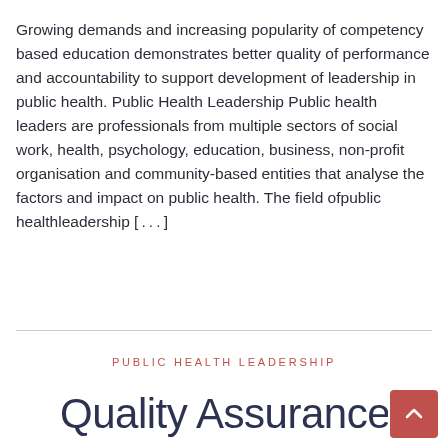Growing demands and increasing popularity of competency based education demonstrates better quality of performance and accountability to support development of leadership in public health. Public Health Leadership Public health leaders are professionals from multiple sectors of social work, health, psychology, education, business, non-profit organisation and community-based entities that analyse the factors and impact on public health. The field ofpublic healthleadership [...]
PUBLIC HEALTH LEADERSHIP
Quality Assurance in